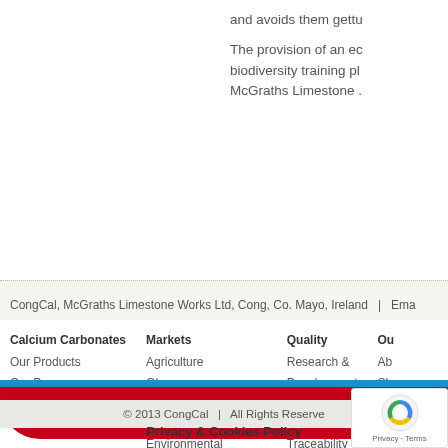and avoids them gettu
The provision of an ec biodiversity training pl McGraths Limestone .
CongCal, McGraths Limestone Works Ltd, Cong, Co. Mayo, Ireland  |  Ema
Calcium Carbonates
Our Products
Our Process
Glossary
FAQs
Markets
Agriculture
Glass
Plastics, Rubber, Paint
Paper
Environmental
Construction
Industrial
Quality
Research & Development
Certifications
Partners
Traceability
Ou
Ab
Sh
En
He
Co
© 2013 CongCal  |  All Rights Reserve
Privacy & Cookies Policy